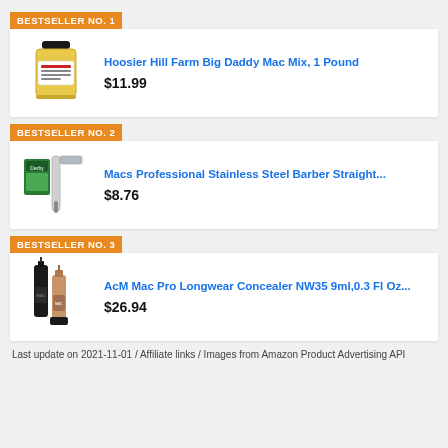BESTSELLER NO. 1
[Figure (photo): Hoosier Hill Farm Big Daddy Mac Mix jar, yellow/orange product in clear glass jar with label]
Hoosier Hill Farm Big Daddy Mac Mix, 1 Pound
$11.99
BESTSELLER NO. 2
[Figure (photo): Macs Professional Stainless Steel Barber Straight razor kit with Derby blades box]
Macs Professional Stainless Steel Barber Straight...
$8.76
BESTSELLER NO. 3
[Figure (photo): AcM Mac Pro Longwear Concealer NW35 bottles, dark and tan makeup concealer products]
AcM Mac Pro Longwear Concealer NW35 9ml,0.3 Fl Oz...
$26.94
Last update on 2021-11-01 / Affiliate links / Images from Amazon Product Advertising API